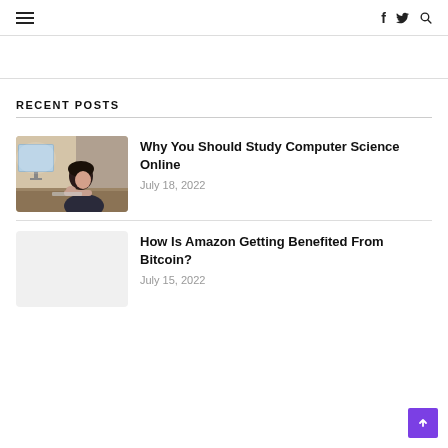≡  f  🐦  🔍
RECENT POSTS
Why You Should Study Computer Science Online — July 18, 2022
How Is Amazon Getting Benefited From Bitcoin? — July 15, 2022